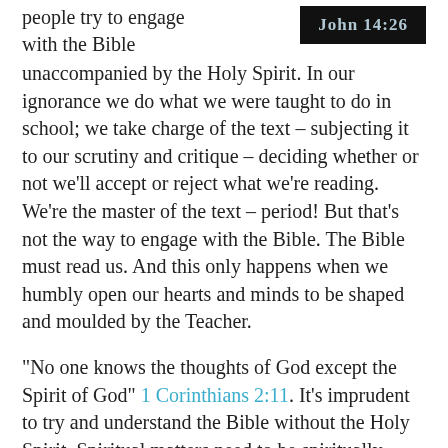people try to engage with the Bible
[Figure (other): Black banner with text 'JOHN 14:26' in light blue/grey serif font]
unaccompanied by the Holy Spirit. In our ignorance we do what we were taught to do in school; we take charge of the text – subjecting it to our scrutiny and critique – deciding whether or not we'll accept or reject what we're reading. We're the master of the text – period! But that's not the way to engage with the Bible. The Bible must read us. And this only happens when we humbly open our hearts and minds to be shaped and moulded by the Teacher.
"No one knows the thoughts of God except the Spirit of God" 1 Corinthians 2:11. It's imprudent to try and understand the Bible without the Holy Spirit. Spiritual matters need to be spiritually discerned. Biblical comprehension requires the insight and wisdom that comes from God (cf. 1 Corinthians 2:14). Only the Spirit of truth can guide us into all truth (cf. John 16:13). Or, stated differently, we require "the mind of Christ" (1 Corinthians